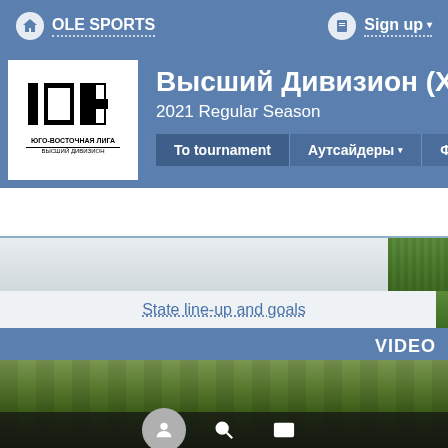OLE SPORTS   Sign up
Высший Дивизион (XV) Юг
2021 Regular Season
To tournament   Аутсайдеры   ФК
State line-up and goals
VIDEO
No videos added yet
Add